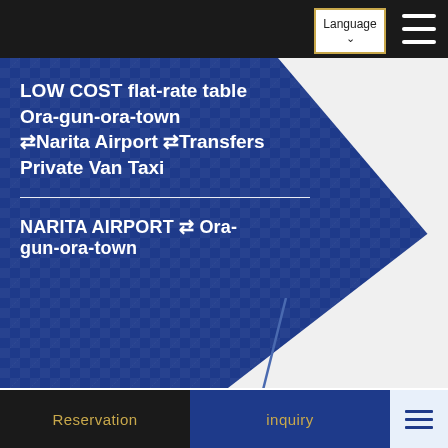Language ∨ ☰
LOW COST flat-rate table Ora-gun-ora-town ⇄Narita Airport ⇄Transfers Private Van Taxi
NARITA AIRPORT ⇄ Ora-gun-ora-town
TOP > Price list > Gumma > Ora-gun-ora-town
Reservation   inquiry   ☰